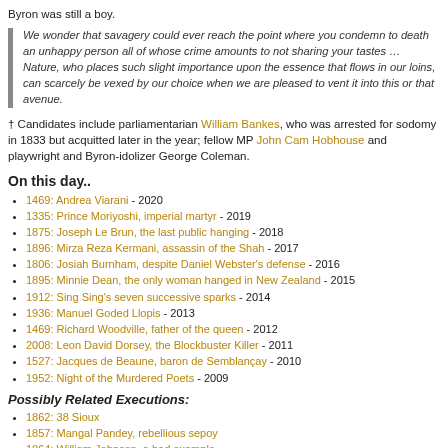Byron was still a boy.
We wonder that savagery could ever reach the point where you condemn to death an unhappy person all of whose crime amounts to not sharing your tastes … Nature, who places such slight importance upon the essence that flows in our loins, can scarcely be vexed by our choice when we are pleased to vent it into this or that avenue.
† Candidates include parliamentarian William Bankes, who was arrested for sodomy in 1833 but acquitted later in the year; fellow MP John Cam Hobhouse and playwright and Byron-idolizer George Coleman.
On this day..
1469: Andrea Viarani - 2020
1335: Prince Moriyoshi, imperial martyr - 2019
1875: Joseph Le Brun, the last public hanging - 2018
1896: Mirza Reza Kermani, assassin of the Shah - 2017
1806: Josiah Burnham, despite Daniel Webster's defense - 2016
1895: Minnie Dean, the only woman hanged in New Zealand - 2015
1912: Sing Sing's seven successive sparks - 2014
1936: Manuel Goded Llopis - 2013
1469: Richard Woodville, father of the queen - 2012
2008: Leon David Dorsey, the Blockbuster Killer - 2011
1527: Jacques de Beaune, baron de Semblançay - 2010
1952: Night of the Murdered Poets - 2009
Possibly Related Executions:
1862: 38 Sioux
1857: Mangal Pandey, rebellious sepoy
1864: William Johnson, a bad example